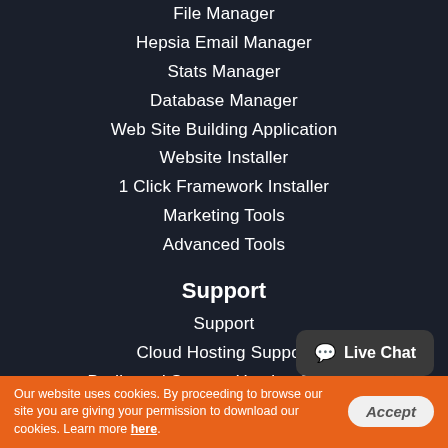File Manager
Hepsia Email Manager
Stats Manager
Database Manager
Web Site Building Application
Website Installer
1 Click Framework Installer
Marketing Tools
Advanced Tools
Support
Support
Cloud Hosting Support
Dedicated Servers Hosting Support
Dedicated Optional Managed Services
Hosting Glossary
[Figure (other): Live Chat button widget]
Our website uses cookies. By proceeding to browse our site you are giving your permission to download our cookies. Learn more here.